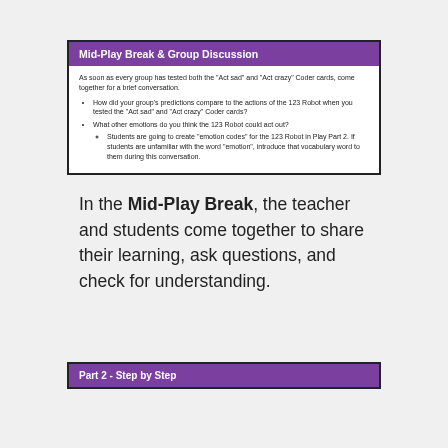Mid-Play Break & Group Discussion
As soon as every group has tested both the “Act sad” and “Act crazy” Coder cards, come together for a brief conversation.
How did your group’s predictions compare to the actions of the 123 Robot when you tested the “Act sad” and “Act crazy” Coder cards?
What other emotions do you think the 123 Robot could act out?
Students are going to create “emotion codes” for the 123 Robot in Play Part 2. If students are unfamiliar with the word “emotion”, introduce that vocabulary word to them during this conversation.
In the Mid-Play Break, the teacher and students come together to share their learning, ask questions, and check for understanding.
Part 2 - Step by Step